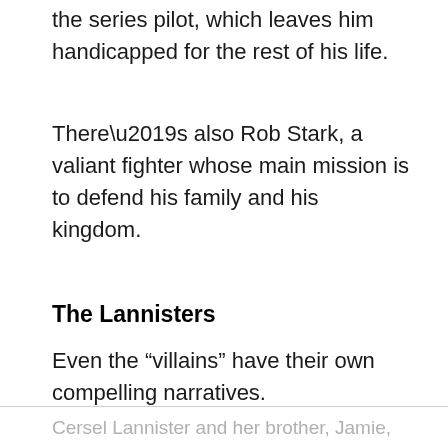the series pilot, which leaves him handicapped for the rest of his life.
There’s also Rob Stark, a valiant fighter whose main mission is to defend his family and his kingdom.
The Lannisters
Even the “villains” have their own compelling narratives.
Cersel Lannister and her brother, Jamie, want to murder the Starks and take their kingdom.